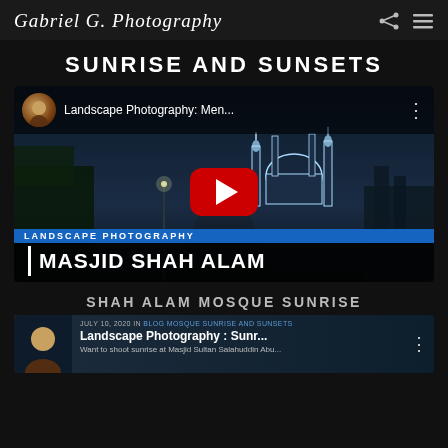Gabriel G Photography | Share | Menu
SUNRISE AND SUNSETS
[Figure (screenshot): YouTube video thumbnail for 'Landscape Photography: Men...' showing Masjid Shah Alam mosque at night with a red YouTube play button overlay. Bottom overlay reads 'LANDSCAPE PHOTOGRAPHY' in blue bar and 'MASJID SHAH ALAM' in bold white text.]
SHAH ALAM MOSQUE SUNRISE
[Figure (screenshot): Thumbnail of a second video post dated JULY 10, 2020 IN BLOG MOSQUE SUNRISE AND SUNSETS titled 'Landscape Photography : Sunr...' with text 'Want to shoot sunrise at Masjid Sultan Salahuddin Abu...']